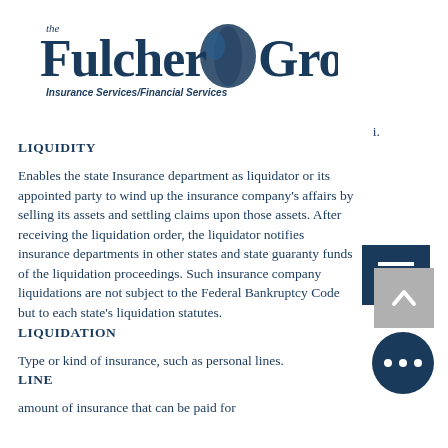[Figure (logo): The Fulcher Group logo with text 'Insurance Services/Financial Services']
i.
LIQUIDITY
Enables the state Insurance department as liquidator or its appointed party to wind up the insurance company's affairs by selling its assets and settling claims upon those assets. After receiving the liquidation order, the liquidator notifies insurance departments in other states and state guaranty funds of the liquidation proceedings. Such insurance company liquidations are not subject to the Federal Bankruptcy Code but to each state's liquidation statutes.
LIQUIDATION
Type or kind of insurance, such as personal lines.
LINE
amount of insurance that can be paid for